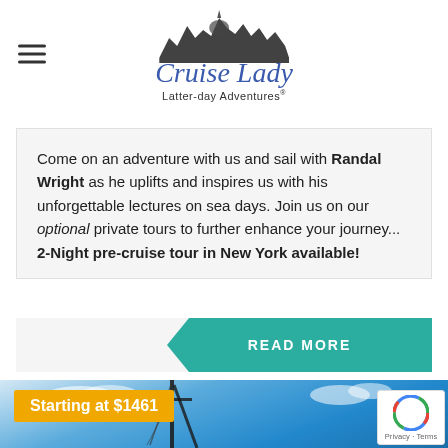[Figure (logo): Cruise Lady Latter-day Adventures logo with skyline silhouette and cursive blue text]
Come on an adventure with us and sail with Randal Wright as he uplifts and inspires us with his unforgettable lectures on sea days. Join us on our optional private tours to further enhance your journey... 2-Night pre-cruise tour in New York available!
READ MORE
[Figure (photo): Blue sky with clouds and ship mast silhouette, with 'Starting at $1461' price badge overlay]
Starting at $1461